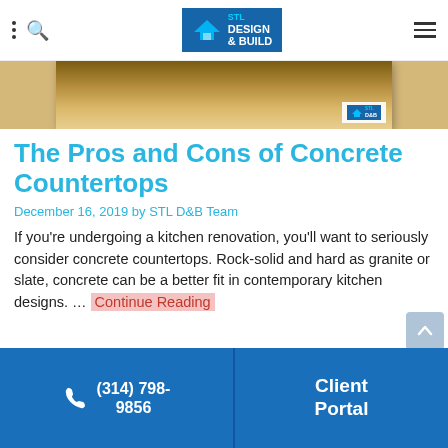STL Design & Build navigation bar with logo
[Figure (photo): Thumbnail image of a countertop with STL Design & Build logo overlay]
The Pros and Cons of Concrete Countertops
December 16, 2019 by STL D&B Team
If you're undergoing a kitchen renovation, you'll want to seriously consider concrete countertops. Rock-solid and hard as granite or slate, concrete can be a better fit in contemporary kitchen designs. … Continue Reading
Filed Under: general remodeling Tagged With: concrete countertops, kitchen remodeling
[Figure (infographic): Bottom CTA bar with phone number (314) 798-9856 and Client Portal button]